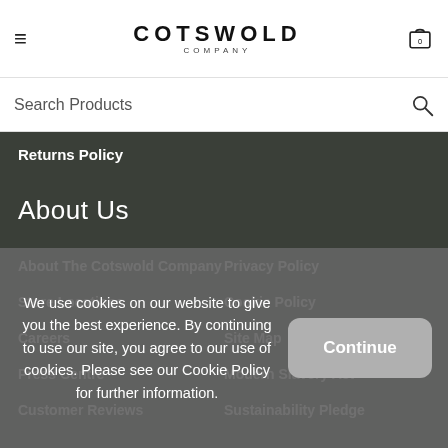COTSWOLD COMPANY
Search Products
Returns Policy
About Us
About The Cotswold Company
Privacy Policy
Store Locations
Cookie Policy
Careers
Site Map
Press Centre
Modern Slavery Act
Customer Reviews
Sustainability Pledge
We use cookies on our website to give you the best experience. By continuing to use our site, you agree to our use of cookies. Please see our Cookie Policy for further information.